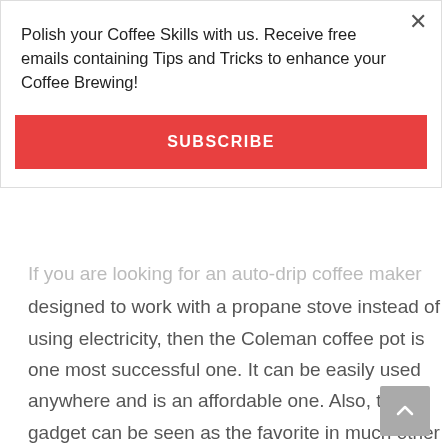Polish your Coffee Skills with us. Receive free emails containing Tips and Tricks to enhance your Coffee Brewing!
SUBSCRIBE
If you are looking for an auto-drip coffee maker designed to work with a propane stove instead of using electricity, then the Coleman coffee pot is one most successful one. It can be easily used anywhere and is an affordable one. Also, this gadget can be seen as the favorite in much other Backpacking and portable coffee brewers list.
Key Features
Makes – Regular Coffee